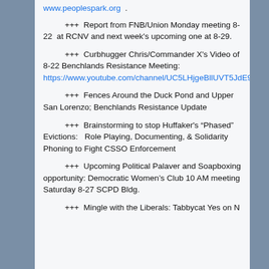www.peoplespark.org .
+++  Report from FNB/Union Monday meeting 8-22  at RCNV and next week's upcoming one at 8-29.
+++  Curbhugger Chris/Commander X's Video of 8-22 Benchlands Resistance Meeting: https://www.youtube.com/channel/UC5LHjgeBllUVT5JdE9t78zQ
+++  Fences Around the Duck Pond and Upper San Lorenzo; Benchlands Resistance Update
+++  Brainstorming to stop Huffaker's “Phased” Evictions:   Role Playing, Documenting, & Solidarity Phoning to Fight CSSO Enforcement
+++  Upcoming Political Palaver and Soapboxing opportunity: Democratic Women’s Club 10 AM meeting Saturday 8-27 SCPD Bldg.
+++  Mingle with the Liberals: Tabbycat Yes on N